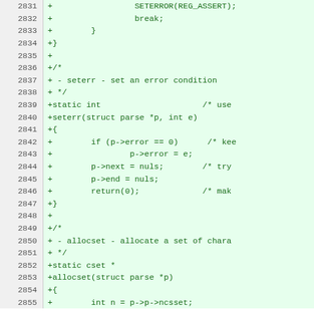| line | code |
| --- | --- |
| 2831 | +                    SETERROR(REG_ASSERT); |
| 2832 | +                    break; |
| 2833 | +        } |
| 2834 | +} |
| 2835 | + |
| 2836 | +/* |
| 2837 | + - seterr - set an error condition |
| 2838 | + */ |
| 2839 | +static int                     /* use |
| 2840 | +seterr(struct parse *p, int e) |
| 2841 | +{ |
| 2842 | +        if (p->error == 0)     /* kee |
| 2843 | +                p->error = e; |
| 2844 | +        p->next = nuls;        /* try |
| 2845 | +        p->end = nuls; |
| 2846 | +        return(0);             /* mak |
| 2847 | +} |
| 2848 | + |
| 2849 | +/* |
| 2850 | + - allocset - allocate a set of chara |
| 2851 | + */ |
| 2852 | +static cset * |
| 2853 | +allocset(struct parse *p) |
| 2854 | +{ |
| 2855 | +        int n = p->p->ncsset; |